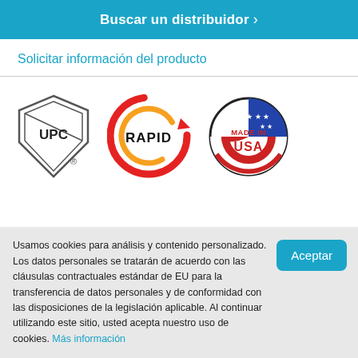Buscar un distribuidor >
Solicitar información del producto
[Figure (logo): Three logos: UPC shield logo (registered trademark), RAPID logo with red/orange swirl, Made in USA circular badge with stars and stripes]
Usamos cookies para análisis y contenido personalizado. Los datos personales se tratarán de acuerdo con las cláusulas contractuales estándar de EU para la transferencia de datos personales y de conformidad con las disposiciones de la legislación aplicable. Al continuar utilizando este sitio, usted acepta nuestro uso de cookies. Más información